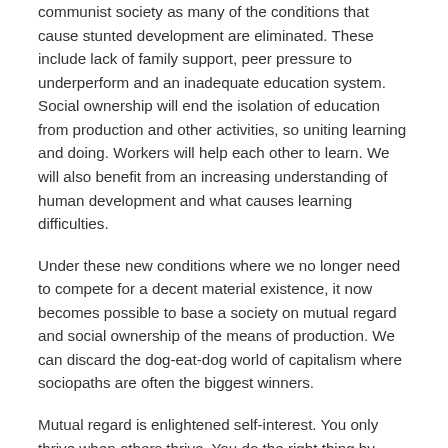communist society as many of the conditions that cause stunted development are eliminated. These include lack of family support, peer pressure to underperform and an inadequate education system. Social ownership will end the isolation of education from production and other activities, so uniting learning and doing. Workers will help each other to learn. We will also benefit from an increasing understanding of human development and what causes learning difficulties.
Under these new conditions where we no longer need to compete for a decent material existence, it now becomes possible to base a society on mutual regard and social ownership of the means of production. We can discard the dog-eat-dog world of capitalism where sociopaths are often the biggest winners.
Mutual regard is enlightened self-interest. You only thrive when others thrive. You do the right thing by others because you know that an increasing majority are doing the same. You know you are contributing to a "pool" of well-being that everybody shares.